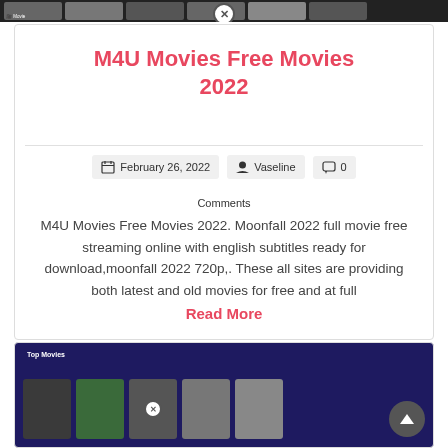[Figure (screenshot): Top navigation bar with movie thumbnails and a close button overlay]
M4U Movies Free Movies 2022
February 26, 2022   Vaseline   0 Comments
M4U Movies Free Movies 2022. Moonfall 2022 full movie free streaming online with english subtitles ready for download,moonfall 2022 720p,. These all sites are providing both latest and old movies for free and at full
Read More
[Figure (screenshot): Second article card showing a movie streaming interface with Top Movies label and movie thumbnails]